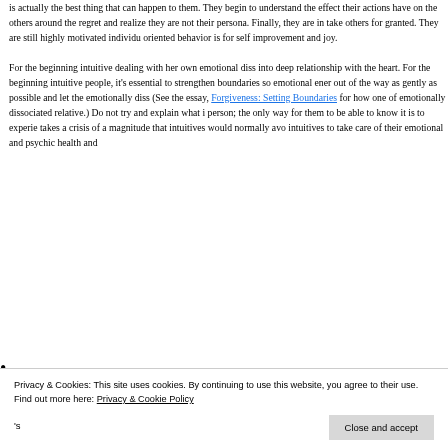is actually the best thing that can happen to them. They begin to understand the effect their actions have on the others around them, regret and realize they are not their persona. Finally, they are in take others for granted. They are still highly motivated individu oriented behavior is for self improvement and joy.
For the beginning intuitive dealing with her own emotional diss into deep relationship with the heart. For the beginning intuitive people, it's essential to strengthen boundaries so emotional ener out of the way as gently as possible and let the emotionally diss (See the essay, Forgiveness: Setting Boundaries for how one of emotionally dissociated relative.) Do not try and explain what i person; the only way for them to be able to know it is to experie takes a crisis of a magnitude that intuitives would normally avo intuitives to take care of their emotional and psychic health and
Privacy & Cookies: This site uses cookies. By continuing to use this website, you agree to their use. Find out more here: Privacy & Cookie Policy